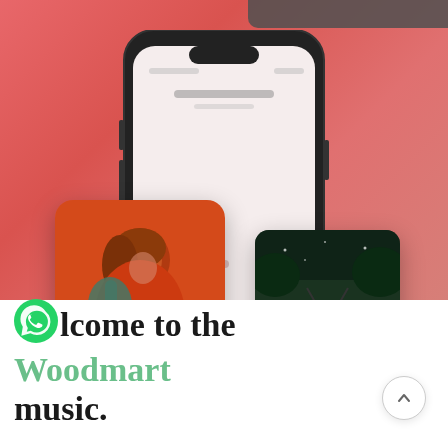[Figure (screenshot): A smartphone mockup displayed on a pink/salmon gradient background. The phone shows a music app interface. Two album art cards float in front of the phone: one large card on the left showing a woman in red against an orange background, and one smaller card on the right showing a dark outdoor scene with a vintage TV. The background transitions to white at the bottom via a wave curve.]
Welcome to the Woodmart music.